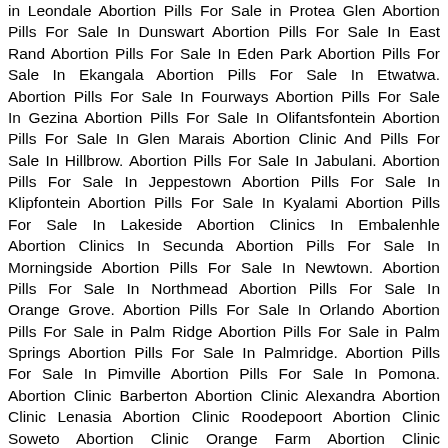in Leondale Abortion Pills For Sale in Protea Glen Abortion Pills For Sale In Dunswart Abortion Pills For Sale In East Rand Abortion Pills For Sale In Eden Park Abortion Pills For Sale In Ekangala Abortion Pills For Sale In Etwatwa. Abortion Pills For Sale In Fourways Abortion Pills For Sale In Gezina Abortion Pills For Sale In Olifantsfontein Abortion Pills For Sale In Glen Marais Abortion Clinic And Pills For Sale In Hillbrow. Abortion Pills For Sale In Jabulani. Abortion Pills For Sale In Jeppestown Abortion Pills For Sale In Klipfontein Abortion Pills For Sale In Kyalami Abortion Pills For Sale In Lakeside Abortion Clinics In Embalenhle Abortion Clinics In Secunda Abortion Pills For Sale In Morningside Abortion Pills For Sale In Newtown. Abortion Pills For Sale In Northmead Abortion Pills For Sale In Orange Grove. Abortion Pills For Sale In Orlando Abortion Pills For Sale in Palm Ridge Abortion Pills For Sale in Palm Springs Abortion Pills For Sale In Palmridge. Abortion Pills For Sale In Pimville Abortion Pills For Sale In Pomona. Abortion Clinic Barberton Abortion Clinic Alexandra Abortion Clinic Lenasia Abortion Clinic Roodepoort Abortion Clinic Soweto Abortion Clinic Orange Farm Abortion Clinic Alberton.Abortion Clinic Germiston Abortion Clinic Benoni Abortion Clinic